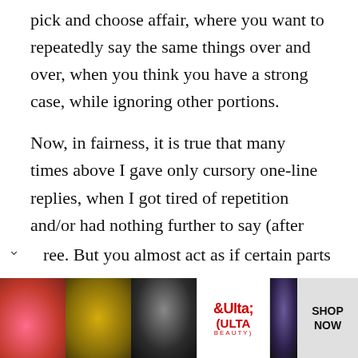pick and choose affair, where you want to repeatedly say the same things over and over, when you think you have a strong case, while ignoring other portions.
Now, in fairness, it is true that many times above I gave only cursory one-line replies, when I got tired of repetition and/or had nothing further to say (after writing for hours and hours), but the difference is that I preserved your portions, so readers can see what I didn't reply to, to any appreciable
ree. But you almost act as if certain parts
[Figure (infographic): ULTA Beauty advertisement banner with makeup product images, ULTA logo, and SHOP NOW button]